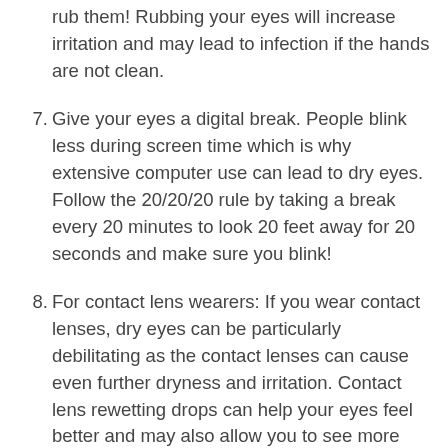rub them! Rubbing your eyes will increase irritation and may lead to infection if the hands are not clean.
7. Give your eyes a digital break. People blink less during screen time which is why extensive computer use can lead to dry eyes. Follow the 20/20/20 rule by taking a break every 20 minutes to look 20 feet away for 20 seconds and make sure you blink!
8. For contact lens wearers: If you wear contact lenses, dry eyes can be particularly debilitating as the contact lenses can cause even further dryness and irritation. Contact lens rewetting drops can help your eyes feel better and may also allow you to see more clearly. Not all eyedrops are appropriate for use with contact lenses, so ask your optometrist which eyedrop is compatible with your contacts and cleaning solution. If rewetting drops don't help, consider opting for glasses when your dry eyes are